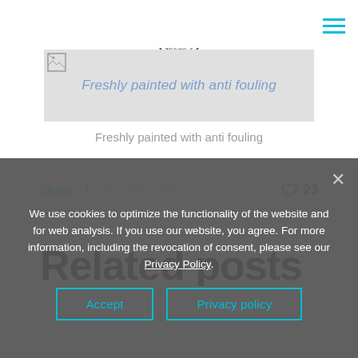[Figure (logo): Nautical compass logo with sailboat, labeled 'Narrow Sailing']
[Figure (photo): Broken image placeholder with text 'Freshly painted with anti fouling']
Freshly painted with anti fouling
Share  23
We use cookies to optimize the functionality of the website and for web analysis. If you use our website, you agree. For more information, including the revocation of consent, please see our Privacy Policy.